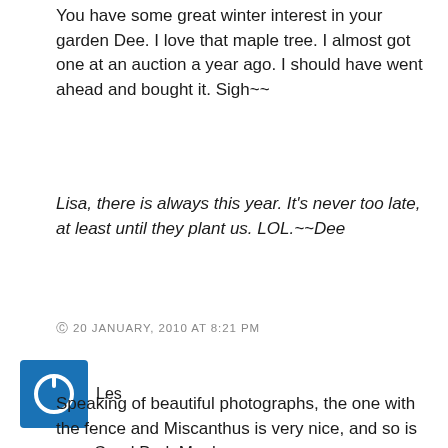You have some great winter interest in your garden Dee. I love that maple tree. I almost got one at an auction a year ago. I should have went ahead and bought it. Sigh~~
Lisa, there is always this year. It's never too late, at least until they plant us. LOL.~~Dee
© 20 JANUARY, 2010 AT 8:21 PM
[Figure (illustration): Blue square avatar icon with white power button symbol]
Les
Speaking of beautiful photographs, the one with the fence and Miscanthus is very nice, and so is your Coral Bark Maple.